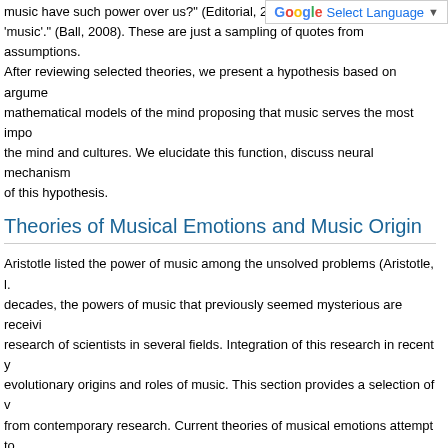music have such power over us?' (Editorial, 2008). 'music'.' (Ball, 2008). These are just a sampling of quotes from assumptions. After reviewing selected theories, we present a hypothesis based on arguments mathematical models of the mind proposing that music serves the most important function in the mind and cultures. We elucidate this function, discuss neural mechanisms of this hypothesis.
Theories of Musical Emotions and Music Origins
Aristotle listed the power of music among the unsolved problems (Aristotle, ...). In recent decades, the powers of music that previously seemed mysterious are receiving attention in the research of scientists in several fields. Integration of this research in recent years has clarified the evolutionary origins and roles of music. This section provides a selection of views and findings from contemporary research. Current theories of musical emotions attempt to address music's evolutionary origins. Justus and Hustler (2003) and McDermott and Houser (...) reviewed the origins of music. They emphasize that an unambiguous identification of genetic origins of music requires innateness, domain specificity for music, and uniqueness to humans (or animals that enjoy it in the sense humans do). The conclusions of both reviews are similar, i.e., "humans are designed to enjoy music." There is much suggestive evidence supporting a biological predisposition and that abilities for music are guided by innate constraints. Nevertheless it is unclear that these constraints are uniquely human since the... It is also likely that many musical abilities are not adaptations for music, but are based on... There are "some intriguing clues about innate perceptual biases related to music that constrain evolutionary hypothesis." "Available evidence suggests that the innate predisposition to that domain, making it unclear, which domain(s) provided the relevant selective...